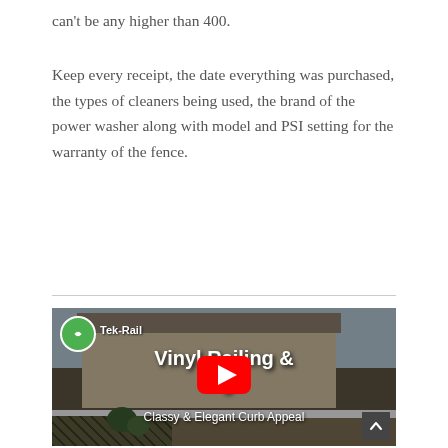can't be any higher than 400.
Keep every receipt, the date everything was purchased, the types of cleaners being used, the brand of the power washer along with model and PSI setting for the warranty of the fence.
[Figure (screenshot): YouTube video thumbnail for Tek-Rail showing a white vinyl railing and fencing on a porch with the text 'Vinyl Railing & Fencing' and 'Classy & Elegant Curb Appeal', with a YouTube play button overlay.]